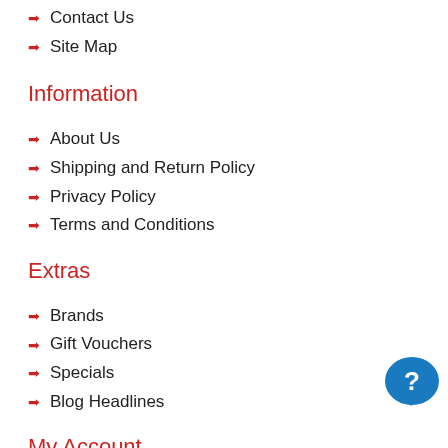Contact Us
Site Map
Information
About Us
Shipping and Return Policy
Privacy Policy
Terms and Conditions
Extras
Brands
Gift Vouchers
Specials
Blog Headlines
My Account
Login
Wish List
Support